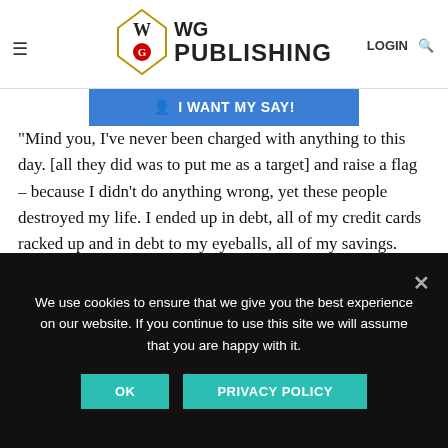WG PUBLISHING — navigation bar with hamburger menu, logo, LOGIN and search icons
enormously scary to do, what I believed was the right thing to do and I was treated like a terrorist, treated like an anti-government extremist,
[Figure (screenshot): Blue 'I WANT MY SAY!' button/bar with user icon]
"Mind you, I've never been charged with anything to this day. [all they did was to put me as a target] and raise a flag – because I didn't do anything wrong, yet these people destroyed my life. I ended up in debt, all of my credit cards racked up and in debt to my eyeballs, all of my savings.
"And it doesn't even compare to what has happened to Flynn. This is what they do. They force you into a position, to where you can't even afford to keep fighting them anymore.
We use cookies to ensure that we give you the best experience on our website. If you continue to use this site we will assume that you are happy with it.
OK
PRIVACY POLICY